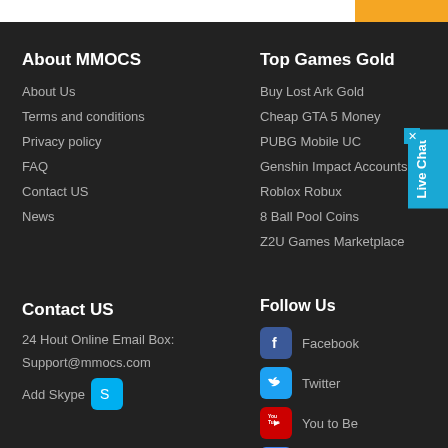About MMOCS
About Us
Terms and conditions
Privacy policy
FAQ
Contact US
News
Top Games Gold
Buy Lost Ark Gold
Cheap GTA 5 Money
PUBG Mobile UC
Genshin Impact Accounts
Roblox Robux
8 Ball Pool Coins
Z2U Games Marketplace
Contact US
24 Hout Online Email Box:
Support@mmocs.com
Add Skype
Follow Us
Facebook
Twitter
You to Be
GOOGLE